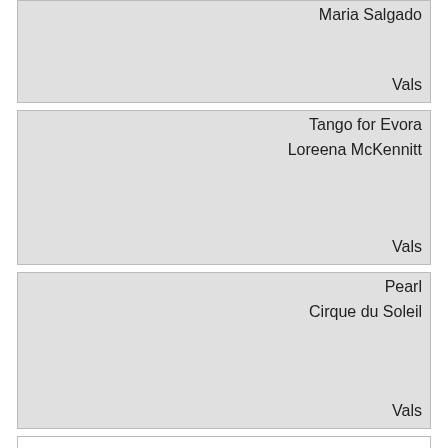Maria Salgado
Vals
Tango for Evora
Loreena McKennitt
Vals
Pearl
Cirque du Soleil
Vals